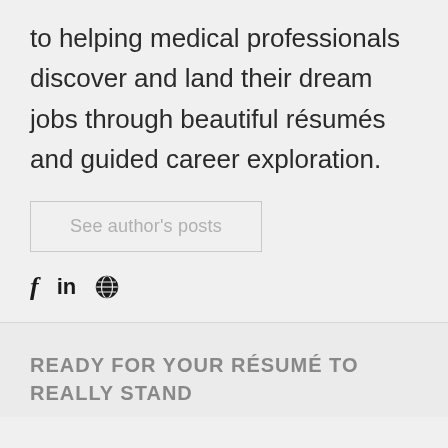to helping medical professionals discover and land their dream jobs through beautiful résumés and guided career exploration.
See author's posts
[Figure (other): Social media icons: Facebook (f), LinkedIn (in), and a globe/website icon]
READY FOR YOUR RÉSUMÉ TO REALLY STAND